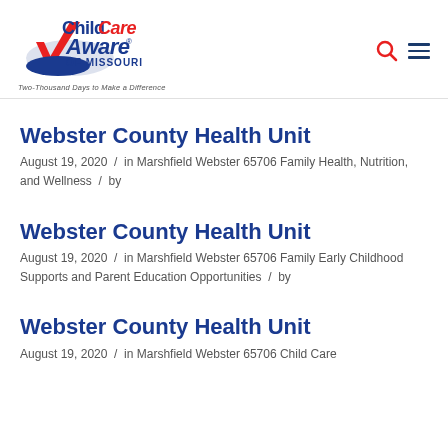ChildCare Aware of Missouri — Two-Thousand Days to Make a Difference
Webster County Health Unit
August 19, 2020 / in Marshfield Webster 65706 Family Health, Nutrition, and Wellness / by
Webster County Health Unit
August 19, 2020 / in Marshfield Webster 65706 Family Early Childhood Supports and Parent Education Opportunities / by
Webster County Health Unit
August 19, 2020 / in Marshfield Webster 65706 Child Care